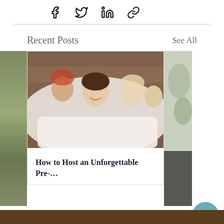[Figure (other): Social share bar with Facebook, Twitter, LinkedIn, and link icons]
Recent Posts
See All
[Figure (photo): Photo of a bride smiling with bridesmaids in white robes, partially visible cards on left and right]
How to Host an Unforgettable Pre-…
[Figure (other): Carousel dots navigation: three dots, first active]
[Figure (other): Teal circular chat button with speech bubble icon]
[Figure (other): Dark brown footer bar at bottom of page]